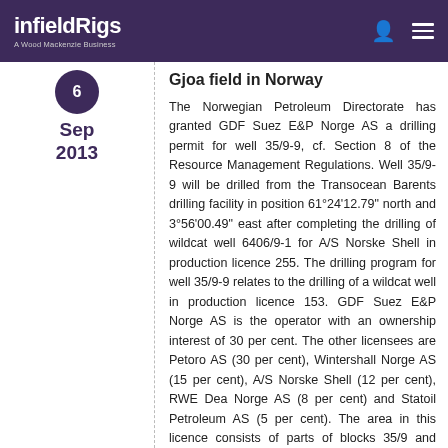infieldRigs — A Wood Mackenzie Business
6
Sep
2013
Gjoa field in Norway
The Norwegian Petroleum Directorate has granted GDF Suez E&P Norge AS a drilling permit for well 35/9-9, cf. Section 8 of the Resource Management Regulations. Well 35/9-9 will be drilled from the Transocean Barents drilling facility in position 61°24'12.79" north and 3°56'00.49" east after completing the drilling of wildcat well 6406/9-1 for A/S Norske Shell in production licence 255. The drilling program for well 35/9-9 relates to the drilling of a wildcat well in production licence 153. GDF Suez E&P Norge AS is the operator with an ownership interest of 30 per cent. The other licensees are Petoro AS (30 per cent), Wintershall Norge AS (15 per cent), A/S Norske Shell (12 per cent), RWE Dea Norge AS (8 per cent) and Statoil Petroleum AS (5 per cent). The area in this licence consists of parts of blocks 35/9 and 36/7. The well will be drilled about eight kilometres north of the Gjøa field. Production licence 153 was awarded